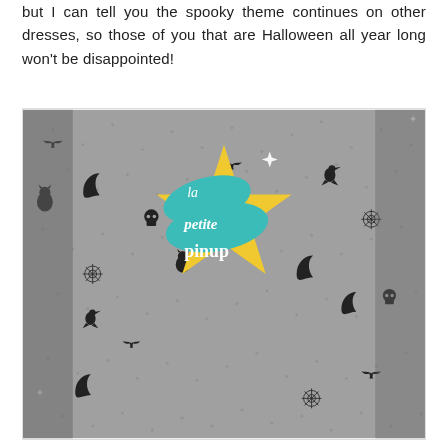but I can tell you the spooky theme continues on other dresses, so those of you that are Halloween all year long won't be disappointed!
[Figure (photo): Close-up photo of a grey fabric dress with black Halloween-themed print pattern including bats, cats, moons, spiderwebs, skulls, and other spooky motifs. A 'la petite pinup' logo/watermark is overlaid in the center of the image, featuring teal and yellow star shapes with white text.]